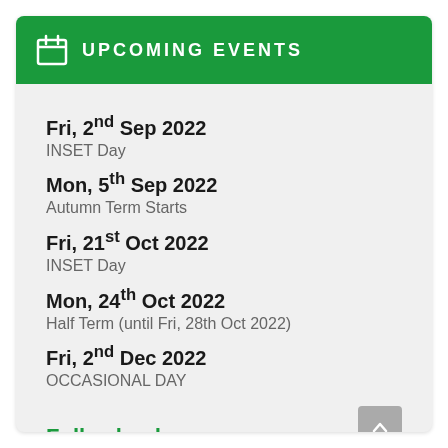UPCOMING EVENTS
Fri, 2nd Sep 2022
INSET Day
Mon, 5th Sep 2022
Autumn Term Starts
Fri, 21st Oct 2022
INSET Day
Mon, 24th Oct 2022
Half Term (until Fri, 28th Oct 2022)
Fri, 2nd Dec 2022
OCCASIONAL DAY
Full calendar